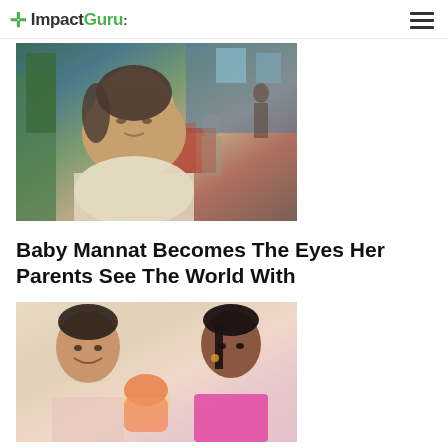ImpactGuru
[Figure (photo): Elderly Indian woman seated indoors at a shopping mall or restaurant, wearing a light-colored salwar kameez, looking at the camera]
Baby Mannat Becomes The Eyes Her Parents See The World With
[Figure (photo): A man and a woman holding a baby wrapped in pink/orange clothing; the man is smiling on the left and the woman is on the right wearing a pink dupatta]